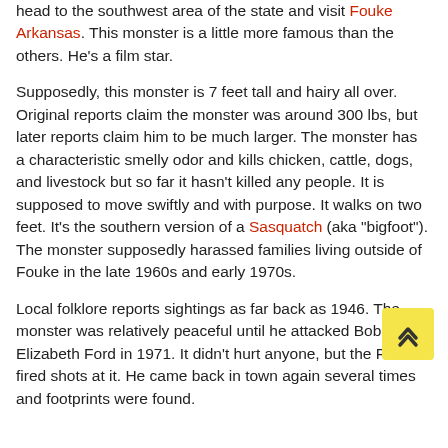head to the southwest area of the state and visit Fouke Arkansas. This monster is a little more famous than the others.  He's a film star.
Supposedly, this monster is 7 feet tall and hairy all over. Original reports claim the monster was around 300 lbs, but later reports claim him to be much larger.  The monster has a characteristic smelly odor and kills chicken, cattle, dogs, and livestock but so far it hasn't killed any people. It is supposed to move swiftly and with purpose. It walks on two feet. It's the southern version of a Sasquatch (aka "bigfoot"). The monster supposedly harassed families living outside of Fouke in the late 1960s and early 1970s.
Local folklore reports sightings as far back as 1946.  The monster was relatively peaceful until he attacked Bobby and Elizabeth Ford in 1971.  It didn't hurt anyone, but the Ford's fired shots at it.  He came back in town again several times and footprints were found.